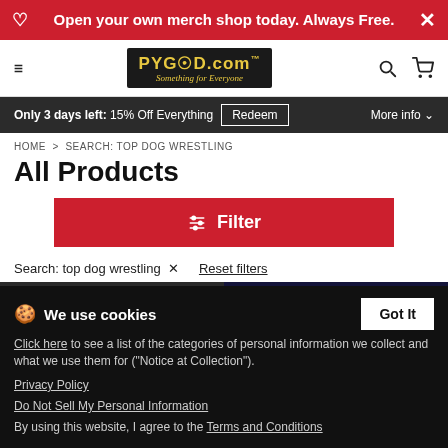Open your own merch shop today. Always Free.
[Figure (logo): PYGOD.com logo with tagline 'Something for Everyone' on dark background]
Only 3 days left: 15% Off Everything  Redeem  More info
HOME > SEARCH: TOP DOG WRESTLING
All Products
Filter
Search: top dog wrestling ×   Reset filters
[Figure (photo): Two dark t-shirts partially visible, one with 'New' badge]
We use cookies
Click here to see a list of the categories of personal information we collect and what we use them for ("Notice at Collection").
Privacy Policy
Do Not Sell My Personal Information
By using this website, I agree to the Terms and Conditions